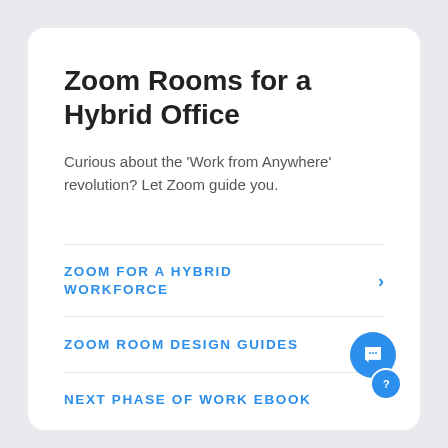Zoom Rooms for a Hybrid Office
Curious about the 'Work from Anywhere' revolution? Let Zoom guide you.
ZOOM FOR A HYBRID WORKFORCE
ZOOM ROOM DESIGN GUIDES
NEXT PHASE OF WORK EBOOK